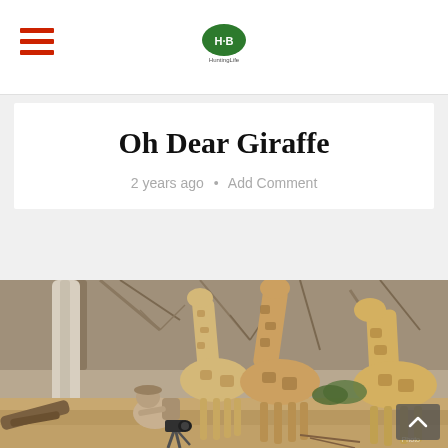Navigation bar with hamburger menu and HuntingLife logo
Oh Dear Giraffe
2 years ago · Add Comment
[Figure (photo): A photographer crouching with a camera on a tripod in an African bush setting, photographing three giraffes among dry trees in a savanna landscape.]